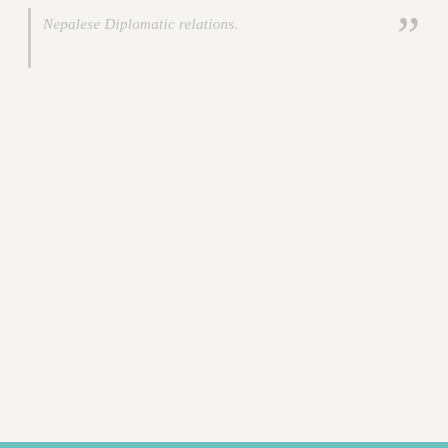Nepalese Diplomatic relations.